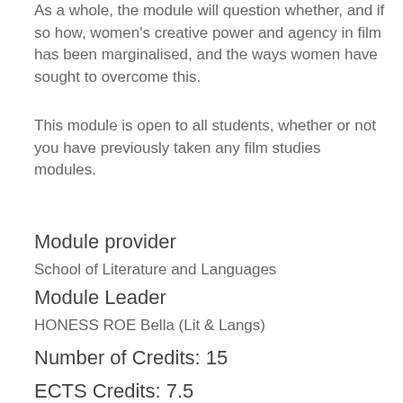As a whole, the module will question whether, and if so how, women's creative power and agency in film has been marginalised, and the ways women have sought to overcome this.
This module is open to all students, whether or not you have previously taken any film studies modules.
Module provider
School of Literature and Languages
Module Leader
HONESS ROE Bella (Lit & Langs)
Number of Credits: 15
ECTS Credits: 7.5